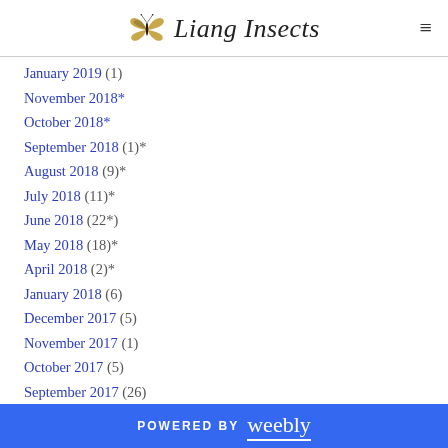Liang Insects
January 2019 (1)
November 2018*
October 2018*
September 2018 (1)*
August 2018 (9)*
July 2018 (11)*
June 2018 (22*)
May 2018 (18)*
April 2018 (2)*
January 2018 (6)
December 2017 (5)
November 2017 (1)
October 2017 (5)
September 2017 (26)
August 2017 (19)
POWERED BY weebly